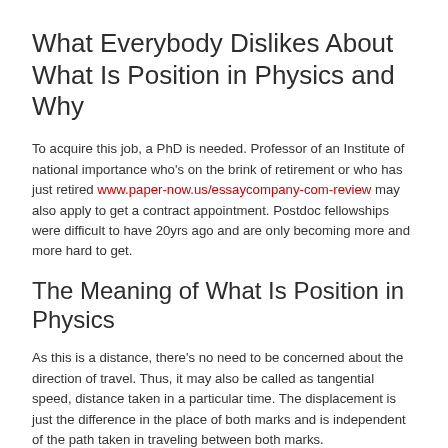What Everybody Dislikes About What Is Position in Physics and Why
To acquire this job, a PhD is needed. Professor of an Institute of national importance who's on the brink of retirement or who has just retired www.paper-now.us/essaycompany-com-review may also apply to get a contract appointment. Postdoc fellowships were difficult to have 20yrs ago and are only becoming more and more hard to get.
The Meaning of What Is Position in Physics
As this is a distance, there's no need to be concerned about the direction of travel. Thus, it may also be called as tangential speed, distance taken in a particular time. The displacement is just the difference in the place of both marks and is independent of the path taken in traveling between both marks.
However, the precise location of the individual on such sphere is yet unknown. Imagine you're walking in a little rectangle. But we must know the method by which the distance is computed.